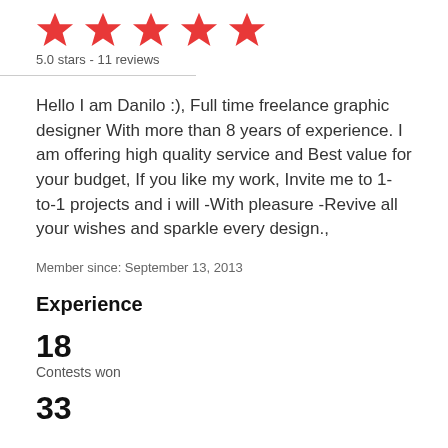[Figure (other): Five red stars rating icons in a row]
5.0 stars - 11 reviews
Hello I am Danilo :), Full time freelance graphic designer With more than 8 years of experience. I am offering high quality service and Best value for your budget, If you like my work, Invite me to 1-to-1 projects and i will -With pleasure -Revive all your wishes and sparkle every design.,
Member since: September 13, 2013
Experience
18
Contests won
33